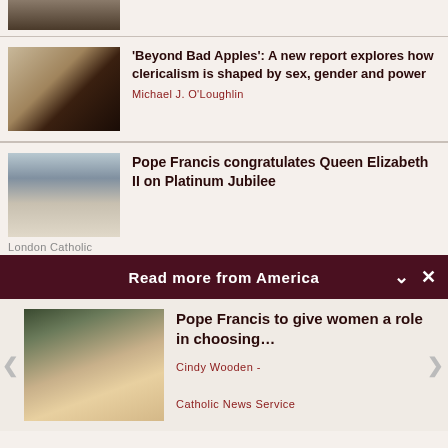[Figure (photo): Partial photo at top of page, cropped silhouette/church scene]
[Figure (photo): Silhouette of person in religious/church setting]
'Beyond Bad Apples': A new report explores how clericalism is shaped by sex, gender and power
Michael J. O'Loughlin
[Figure (photo): Pope Francis and Queen Elizabeth II meeting]
Pope Francis congratulates Queen Elizabeth II on Platinum Jubilee
London Catholic (partial)
Read more from America
[Figure (photo): Pope Francis speaking, gesturing with hands]
Pope Francis to give women a role in choosing…
Cindy Wooden -

Catholic News Service